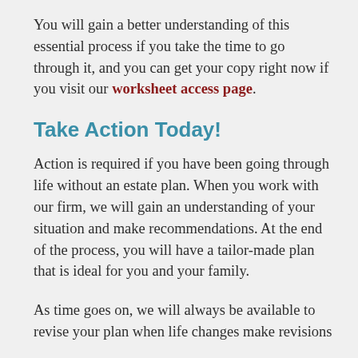You will gain a better understanding of this essential process if you take the time to go through it, and you can get your copy right now if you visit our worksheet access page.
Take Action Today!
Action is required if you have been going through life without an estate plan. When you work with our firm, we will gain an understanding of your situation and make recommendations. At the end of the process, you will have a tailor-made plan that is ideal for you and your family.
As time goes on, we will always be available to revise your plan when life changes make revisions necessary. If you are ready to take the initial